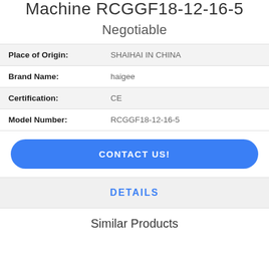Machine RCGGF18-12-16-5
Negotiable
| Field | Value |
| --- | --- |
| Place of Origin: | SHAIHAI IN CHINA |
| Brand Name: | haigee |
| Certification: | CE |
| Model Number: | RCGGF18-12-16-5 |
CONTACT US!
DETAILS
Similar Products